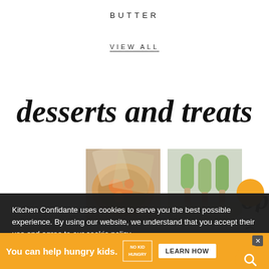BUTTER
VIEW ALL
desserts and treats
[Figure (photo): Photo of apricot galette - warm orange fruit tart in parchment paper]
APRICOT GALETTE
[Figure (photo): Photo of avocado popsicles - green popsicles arranged on a plate]
AVOCADO POPSICLES
Kitchen Confidante uses cookies to serve you the best possible experience. By using our website, we understand that you accept their use and agree to our cookie policy.
Accept
VIEW ALL
You can help hungry kids.
LEARN HOW